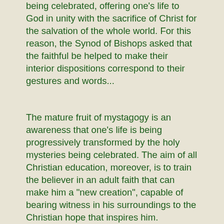being celebrated, offering one's life to God in unity with the sacrifice of Christ for the salvation of the whole world. For this reason, the Synod of Bishops asked that the faithful be helped to make their interior dispositions correspond to their gestures and words...
The mature fruit of mystagogy is an awareness that one's life is being progressively transformed by the holy mysteries being celebrated. The aim of all Christian education, moreover, is to train the believer in an adult faith that can make him a "new creation", capable of bearing witness in his surroundings to the Christian hope that inspires him.
If we are to succeed in carrying out this work of education in our ecclesial communities, those responsible for formation must be adequately